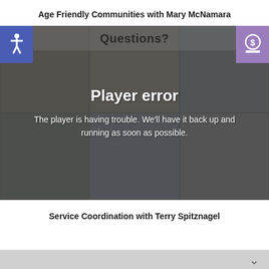Age Friendly Communities with Mary McNamara
[Figure (screenshot): Video player error screen showing 'Questions?' header bar, 'Player error' message, and 'The player is having trouble. We’ll have it back up and running as soon as possible.' text, overlaid on a grid of 6 community event photos. Blue accessibility icon top-left, purple donation icon top-right.]
Service Coordination with Terry Spitznagel
[Figure (screenshot): Bottom gray bar with chevron down arrow, partially visible second video player section]